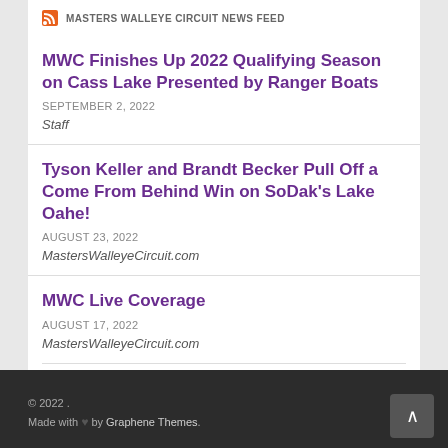MASTERS WALLEYE CIRCUIT NEWS FEED
MWC Finishes Up 2022 Qualifying Season on Cass Lake Presented by Ranger Boats
SEPTEMBER 2, 2022
Staff
Tyson Keller and Brandt Becker Pull Off a Come From Behind Win on SoDak's Lake Oahe!
AUGUST 23, 2022
MastersWalleyeCircuit.com
MWC Live Coverage
AUGUST 17, 2022
MastersWalleyeCircuit.com
© 2022 . Made with ♥ by Graphene Themes.